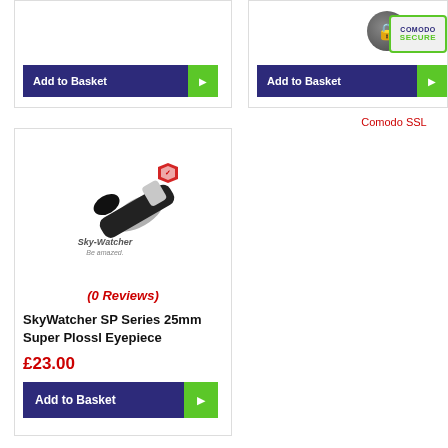[Figure (screenshot): Add to Basket button (top left product card, partially visible)]
[Figure (screenshot): Add to Basket button (top right product card) with Comodo SSL security badge]
Comodo SSL
[Figure (photo): SkyWatcher SP Series 25mm Super Plossl Eyepiece product photo showing a black and silver telescope eyepiece with Sky-Watcher logo]
(0 Reviews)
SkyWatcher SP Series 25mm Super Plossl Eyepiece
£23.00
[Figure (screenshot): Add to Basket button for SkyWatcher SP Series 25mm Super Plossl Eyepiece]